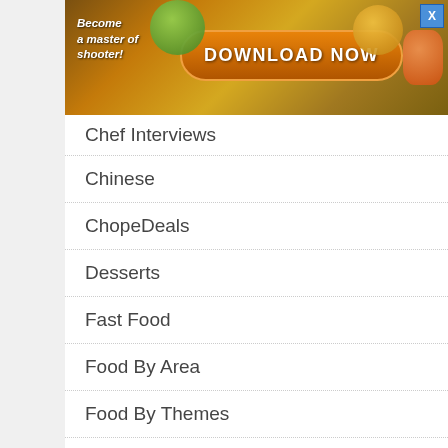[Figure (screenshot): Advertisement banner with orange gradient background, text 'Become a master of shooter!', a large orange 'DOWNLOAD NOW' button, and a close X button in top right]
Chef Interviews
Chinese
ChopeDeals
Desserts
Fast Food
Food By Area
Food By Themes
Food Guides
Food News
Food Reviews
Fusion
Halal